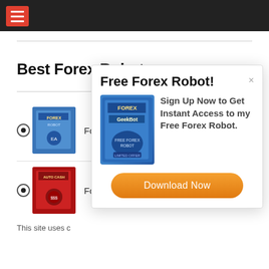Navigation bar with hamburger menu
Best Forex Robots
[Figure (screenshot): Blue product box for Forex Robot item 1]
Fore
[Figure (screenshot): Red product box for Auto Cash item 2]
Fore
This site uses c
[Figure (screenshot): Modal popup: Free Forex Robot! Sign Up Now to Get Instant Access to my Free Forex Robot. With Download Now button. Features a blue FOREX GeekBot product box image.]